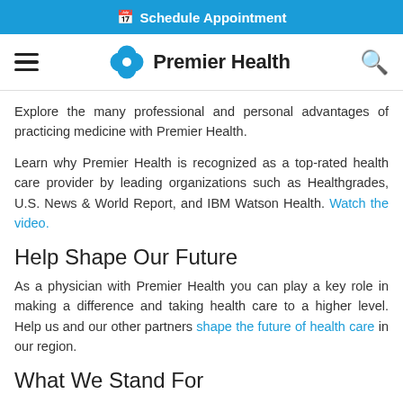Schedule Appointment
[Figure (logo): Premier Health logo with navigation bar including hamburger menu and search icon]
Explore the many professional and personal advantages of practicing medicine with Premier Health.
Learn why Premier Health is recognized as a top-rated health care provider by leading organizations such as Healthgrades, U.S. News & World Report, and IBM Watson Health. Watch the video.
Help Shape Our Future
As a physician with Premier Health you can play a key role in making a difference and taking health care to a higher level. Help us and our other partners shape the future of health care in our region.
What We Stand For